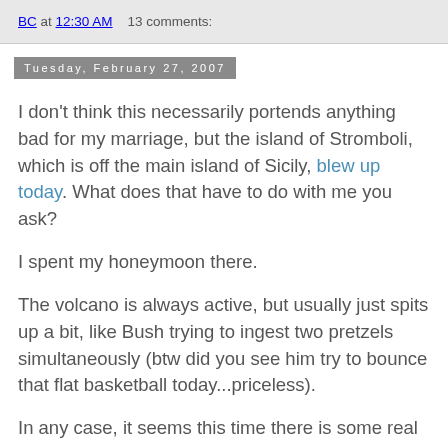BC at 12:30 AM    13 comments:
Tuesday, February 27, 2007
I don't think this necessarily portends anything bad for my marriage, but the island of Stromboli, which is off the main island of Sicily, blew up today. What does that have to do with me you ask?
I spent my honeymoon there.
The volcano is always active, but usually just spits up a bit, like Bush trying to ingest two pretzels simultaneously (btw did you see him try to bounce that flat basketball today...priceless).
In any case, it seems this time there is some real lava flow, and although I don't speak Italian, from what I can understand, many people are vacating the premises.
So assuming everyone is safe, and I am free to joke about it